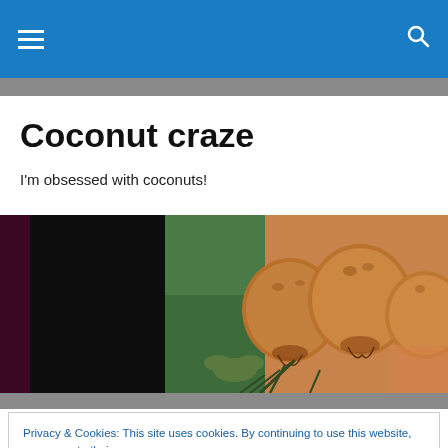☰  🔍
Coconut craze
I'm obsessed with coconuts!
[Figure (photo): Close-up photo of several golden-brown coconuts being held, with dark and green background.]
Privacy & Cookies: This site uses cookies. By continuing to use this website, you agree to their use.
To find out more, including how to control cookies, see here: Cookie Policy
[Close and accept button]
Banana bread is a pleasing way to extend the life of those